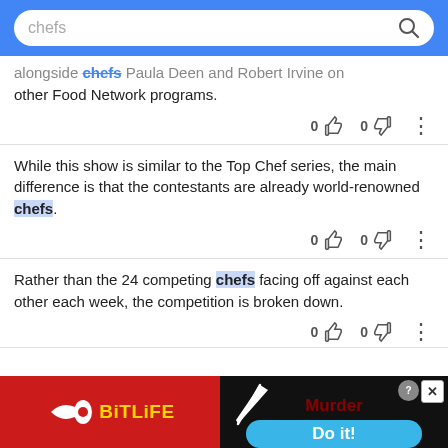chefs
alongside chefs Paula Deen and Robert Irvine on other Food Network programs.
While this show is similar to the Top Chef series, the main difference is that the contestants are already world-renowned chefs.
Rather than the 24 competing chefs facing off against each other each week, the competition is broken down.
[Figure (screenshot): BitLife and Murder Do it! advertisement banner at the bottom of the page]